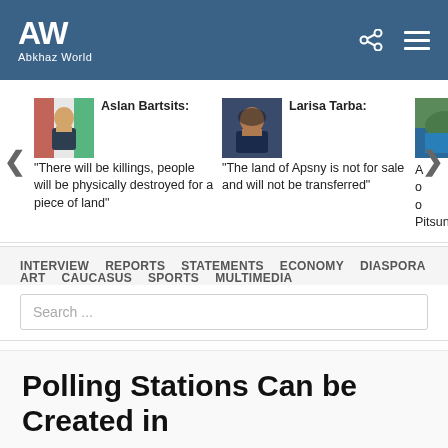AW Abkhaz World
[Figure (screenshot): Carousel with three news article previews: (1) Aslan Bartsits: 'There will be killings, people will be physically destroyed for a piece of land', (2) Larisa Tarba: 'The land of Apsny is not for sale and will not be transferred', (3) partially visible third article about Pitsunda]
INTERVIEW   REPORTS   STATEMENTS   ECONOMY   DIASPORA
ART   CAUCASUS   SPORTS   MULTIMEDIA
Search ...
Polling Stations Can be Created in